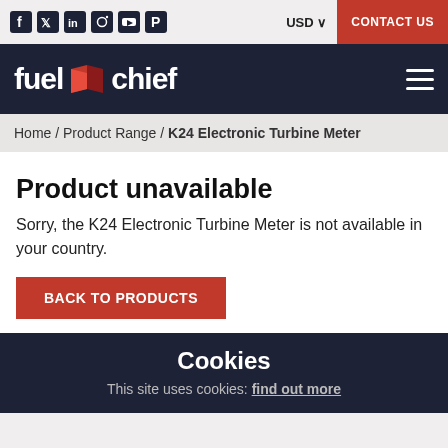Social icons | USD | CONTACT US
[Figure (logo): Fuelchief logo with red book icon on dark navy background with hamburger menu icon]
Home / Product Range / K24 Electronic Turbine Meter
Product unavailable
Sorry, the K24 Electronic Turbine Meter is not available in your country.
BACK TO PRODUCTS
Cookies
This site uses cookies: find out more